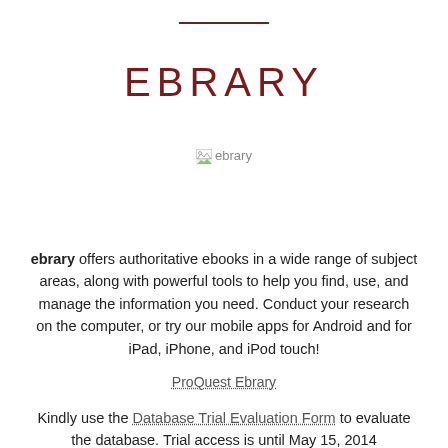EBRARY
[Figure (other): Broken image placeholder labeled 'ebrary']
ebrary offers authoritative ebooks in a wide range of subject areas, along with powerful tools to help you find, use, and manage the information you need. Conduct your research on the computer, or try our mobile apps for Android and for iPad, iPhone, and iPod touch!
ProQuest Ebrary
Kindly use the Database Trial Evaluation Form to evaluate the database. Trial access is until May 15, 2014